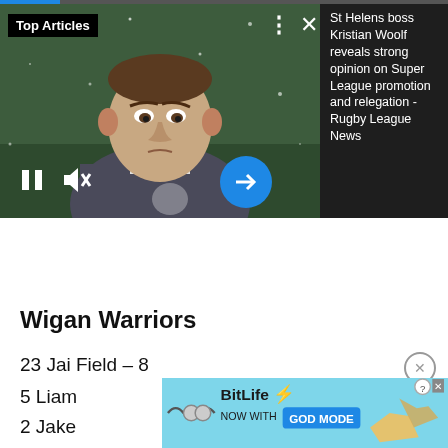[Figure (screenshot): Video player showing a man in a grey jacket with Top Articles label overlay, progress bar, pause/mute/arrow controls, and a dark panel on the right with article text: 'St Helens boss Kristian Woolf reveals strong opinion on Super League promotion and relegation - Rugby League News']
Wigan Warriors
23 Jai Field – 8
5 Liam
2 Jake
[Figure (screenshot): BitLife advertisement banner: 'BitLife NOW WITH GOD MODE' with illustrated hands and question/close buttons]